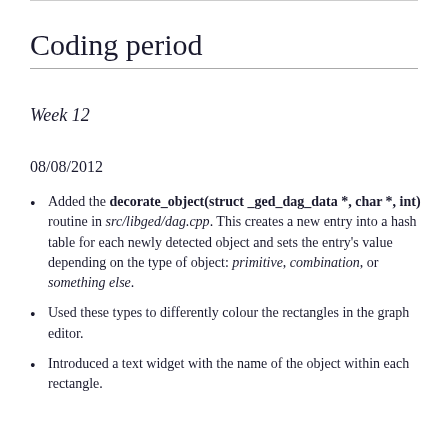Coding period
Week 12
08/08/2012
Added the decorate_object(struct _ged_dag_data *, char *, int) routine in src/libged/dag.cpp. This creates a new entry into a hash table for each newly detected object and sets the entry's value depending on the type of object: primitive, combination, or something else.
Used these types to differently colour the rectangles in the graph editor.
Introduced a text widget with the name of the object within each rectangle.